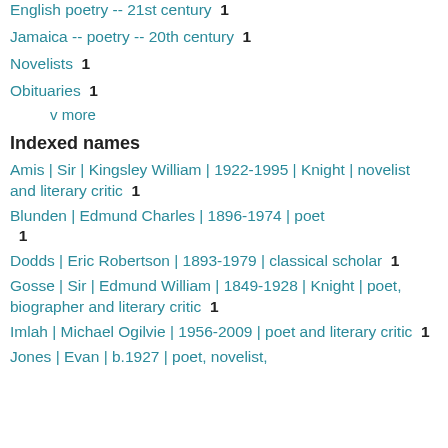English poetry -- 21st century  1
Jamaica -- poetry -- 20th century  1
Novelists  1
Obituaries  1
v more
Indexed names
Amis | Sir | Kingsley William | 1922-1995 | Knight | novelist and literary critic  1
Blunden | Edmund Charles | 1896-1974 | poet  1
Dodds | Eric Robertson | 1893-1979 | classical scholar  1
Gosse | Sir | Edmund William | 1849-1928 | Knight | poet, biographer and literary critic  1
Imlah | Michael Ogilvie | 1956-2009 | poet and literary critic  1
Jones | Evan | b.1927 | poet, novelist,